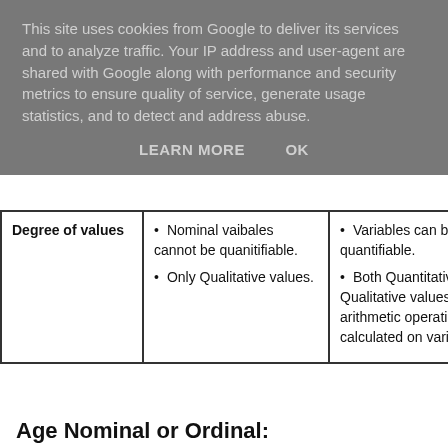This site uses cookies from Google to deliver its services and to analyze traffic. Your IP address and user-agent are shared with Google along with performance and security metrics to ensure quality of service, generate usage statistics, and to detect and address abuse.
LEARN MORE    OK
| Degree of values | • Nominal vaibales cannot be quanitifiable.
• Only Qualitative values. | • Variables can be quantifiable.
• Both Quantitative and Qualitative values but no arithmetic operations are calculated on variables. |
Age Nominal or Ordinal: